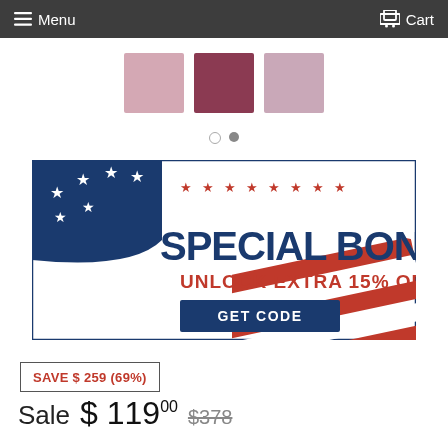Menu   Cart
[Figure (photo): Three fabric swatches: light pink, burgundy, and mauve, shown as square thumbnails in a product carousel]
[Figure (infographic): Special Bonus banner with American flag motif, stars, text: SPECIAL BONUS, UNLOCK EXTRA 15% OFF, GET CODE button]
SAVE $ 259 (69%)
Sale $ 119.00  $378